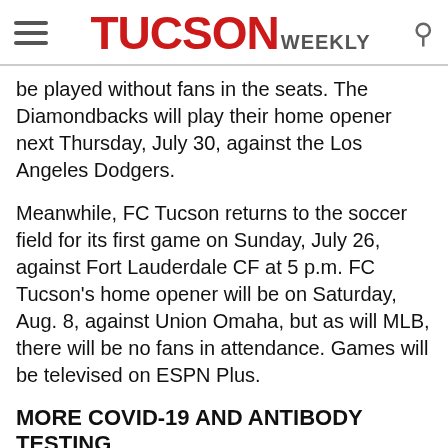TUCSON WEEKLY
be played without fans in the seats. The Diamondbacks will play their home opener next Thursday, July 30, against the Los Angeles Dodgers.
Meanwhile, FC Tucson returns to the soccer field for its first game on Sunday, July 26, against Fort Lauderdale CF at 5 p.m. FC Tucson's home opener will be on Saturday, Aug. 8, against Union Omaha, but as will MLB, there will be no fans in attendance. Games will be televised on ESPN Plus.
MORE COVID-19 AND ANTIBODY TESTING